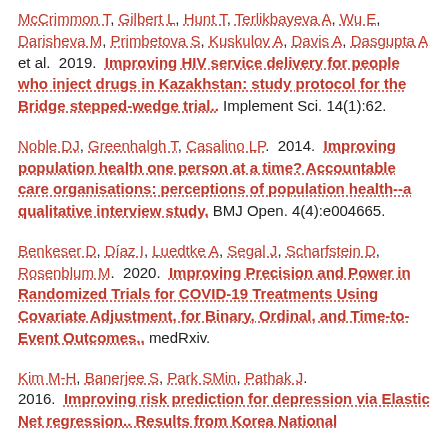McCrimmon T, Gilbert L, Hunt T, Terlikbayeva A, Wu E, Darisheva M, Primbetova S, Kuskulov A, Davis A, Dasgupta A et al.. 2019. Improving HIV service delivery for people who inject drugs in Kazakhstan: study protocol for the Bridge stepped-wedge trial.. Implement Sci. 14(1):62.
Noble DJ, Greenhalgh T, Casalino LP. 2014. Improving population health one person at a time? Accountable care organisations: perceptions of population health--a qualitative interview study. BMJ Open. 4(4):e004665.
Benkeser D, Díaz I, Luedtke A, Segal J, Scharfstein D, Rosenblum M. 2020. Improving Precision and Power in Randomized Trials for COVID-19 Treatments Using Covariate Adjustment, for Binary, Ordinal, and Time-to-Event Outcomes.. medRxiv.
Kim M-H, Banerjee S, Park SMin, Pathak J. 2016. Improving risk prediction for depression via Elastic Net regression.. Results from Korea National...